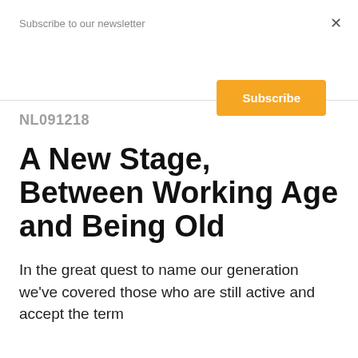Subscribe to our newsletter
×
Subscribe
NL091218
A New Stage, Between Working Age and Being Old
In the great quest to name our generation we've covered those who are still active and accept the term